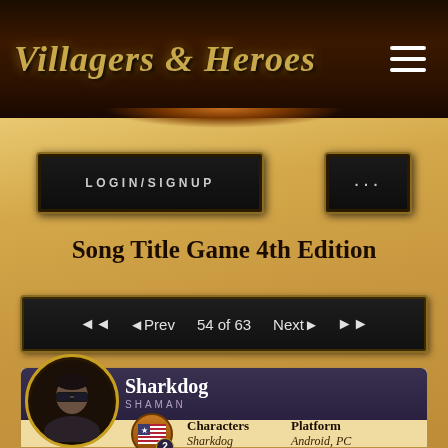Villagers & Heroes
LOGIN/SIGNUP
...
Song Title Game 4th Edition
◄◄  ◄Prev  54 of 63  Next►  ►►
Sharkdog
SHAMAN
Characters
Sharkdog
Platform
Android, PC